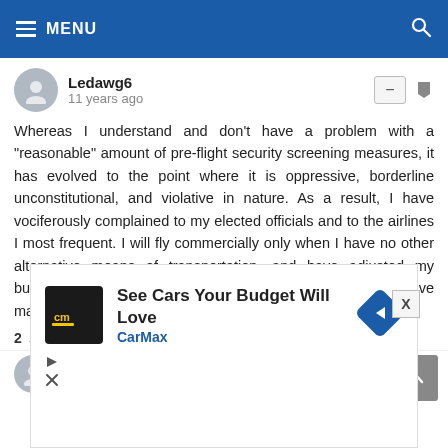MENU
Ledawg6
11 years ago
Whereas I understand and don't have a problem with a "reasonable" amount of pre-flight security screening measures, it has evolved to the point where it is oppressive, borderline unconstitutional, and violative in nature. As a result, I have vociferously complained to my elected officials and to the airlines I most frequent. I will fly commercially only when I have no other alternative means of transportation, and have adjusted my business and vacation habits accordingly. Apparently, so have many others.
2 ▲ | ▼
quest
[Figure (screenshot): CarMax advertisement banner: 'See Cars Your Budget Will Love' with CarMax logo and navigation arrow icon]